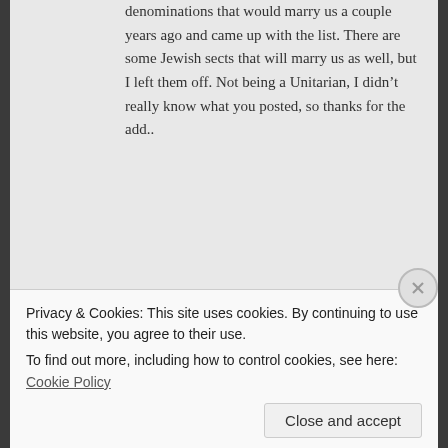denominations that would marry us a couple years ago and came up with the list. There are some Jewish sects that will marry us as well, but I left them off. Not being a Unitarian, I didn't really know what you posted, so thanks for the add..
Liked by 1 person
David H. Littleton says: April 4, 2015 at 4:22 pm
There's going to be a difference of opinion
Privacy & Cookies: This site uses cookies. By continuing to use this website, you agree to their use.
To find out more, including how to control cookies, see here: Cookie Policy